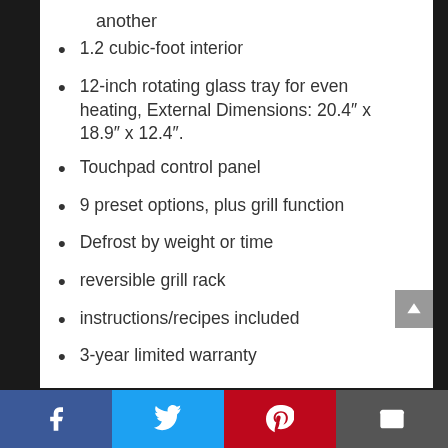another
1.2 cubic-foot interior
12-inch rotating glass tray for even heating, External Dimensions: 20.4″ x 18.9″ x 12.4″.
Touchpad control panel
9 preset options, plus grill function
Defrost by weight or time
reversible grill rack
instructions/recipes included
3-year limited warranty